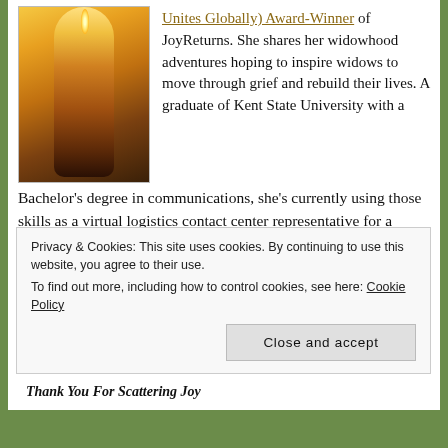[Figure (photo): A lit candle in a glass holder glowing warmly against a dark background]
Unites Globally) Award-Winner of JoyReturns. She shares her widowhood adventures hoping to inspire widows to move through grief and rebuild their lives. A graduate of Kent State University with a Bachelor's degree in communications, she's currently using those skills as a virtual logistics contact center representative for a Fortune 100 company. She's also managed call center teams, co-facilitated a grief support group, and helped small businesses with various writing assignments. Michele is a bookworm, and a lover of
Privacy & Cookies: This site uses cookies. By continuing to use this website, you agree to their use.
To find out more, including how to control cookies, see here: Cookie Policy
Close and accept
Thank You For Scattering Joy